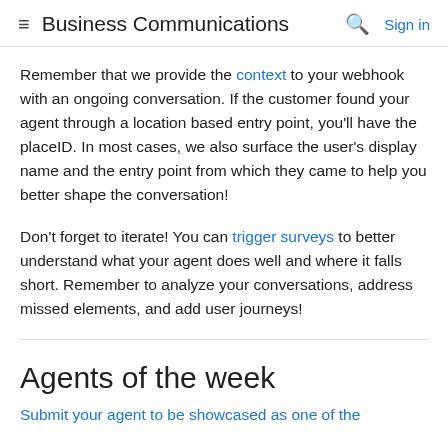≡ Business Communications 🔍 Sign in
Remember that we provide the context to your webhook with an ongoing conversation. If the customer found your agent through a location based entry point, you'll have the placeID. In most cases, we also surface the user's display name and the entry point from which they came to help you better shape the conversation!
Don't forget to iterate! You can trigger surveys to better understand what your agent does well and where it falls short. Remember to analyze your conversations, address missed elements, and add user journeys!
Agents of the week
Submit your agent to be showcased as one of the